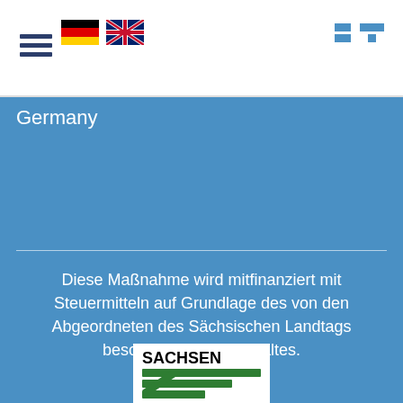[Figure (logo): Hamburger menu icon (three horizontal lines)]
[Figure (logo): German flag icon]
[Figure (logo): UK flag icon]
[Figure (logo): Blue square bracket / BT logo icon in top right]
Germany
Diese Maßnahme wird mitfinanziert mit Steuermitteln auf Grundlage des von den Abgeordneten des Sächsischen Landtags beschlossenen Haushaltes.
[Figure (logo): Sachsen state logo with green horizontal stripes and SACHSEN text]